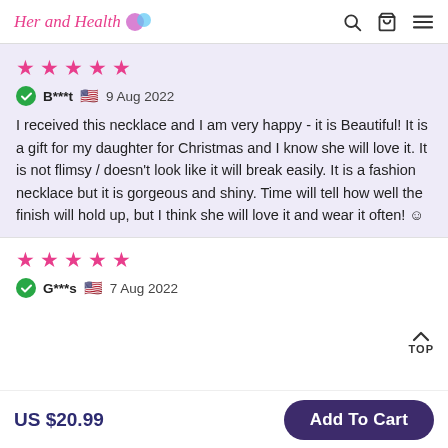Her and Health | Search | Cart | Menu
★★★★★
B***t 🇺🇸 9 Aug 2022
I received this necklace and I am very happy - it is Beautiful! It is a gift for my daughter for Christmas and I know she will love it. It is not flimsy / doesn't look like it will break easily. It is a fashion necklace but it is gorgeous and shiny. Time will tell how well the finish will hold up, but I think she will love it and wear it often! 😊
★★★★★
G***s 🇺🇸 7 Aug 2022
TOP
US $20.99
Add To Cart